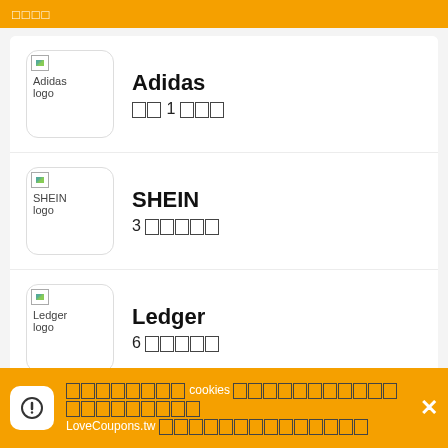□□□□
Adidas — □□ 1 □□□
SHEIN — 3 □□□□□
Ledger — 6 □□□□□
Apple Music — 4 □□□□□
□□□□□□□□ cookies □□□□□□□□□□□□□□□□□□□□ LoveCoupons.tw □□□□□□□□□□□□□□